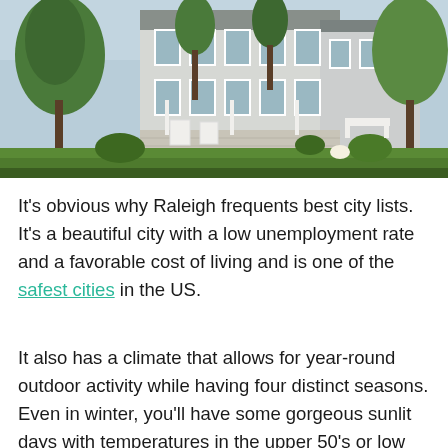[Figure (photo): Exterior photo of a large white colonial-style house with green trees, a garden, white outdoor chairs and furniture on a patio/deck.]
It's obvious why Raleigh frequents best city lists. It's a beautiful city with a low unemployment rate and a favorable cost of living and is one of the safest cities in the US.
It also has a climate that allows for year-round outdoor activity while having four distinct seasons. Even in winter, you'll have some gorgeous sunlit days with temperatures in the upper 50's or low 60's. With